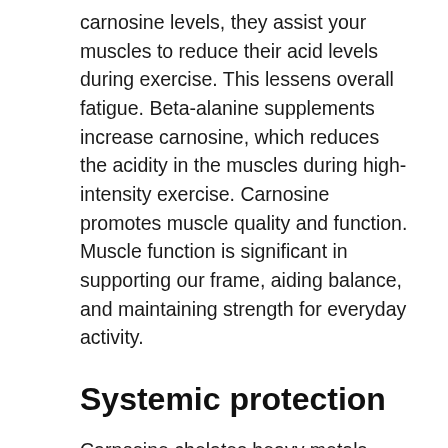carnosine levels, they assist your muscles to reduce their acid levels during exercise. This lessens overall fatigue. Beta-alanine supplements increase carnosine, which reduces the acidity in the muscles during high-intensity exercise. Carnosine promotes muscle quality and function. Muscle function is significant in supporting our frame, aiding balance, and maintaining strength for everyday activity.
Systemic protection
Carnosine chelates heavy metals supports blood glucose levels already within the healthy range, regulates system response, and acts as an anti-inflammatory factor. Its antioxidant properties